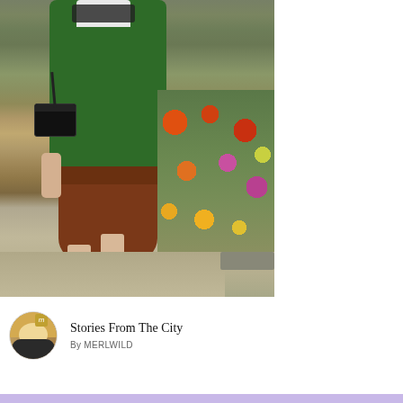[Figure (photo): Fashion photo of a person walking outdoors, wearing a green coat, brown skirt, and black heeled ankle boots. They carry a black crossbody bag. The background shows a garden path with colorful flowers.]
Stories From The City
By MERLWILD